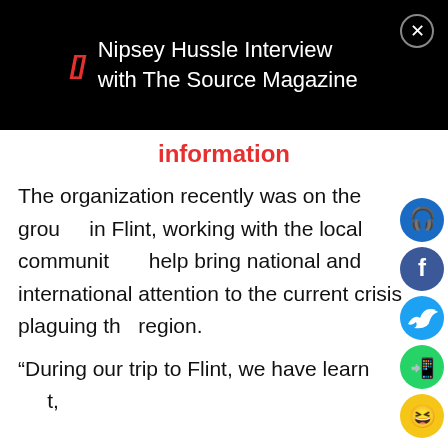Nipsey Hussle Interview with The Source Magazine
information
The organization recently was on the ground in Flint, working with the local community to help bring national and international attention to the current crisis plaguing the region.
“During our trip to Flint, we have learned that,